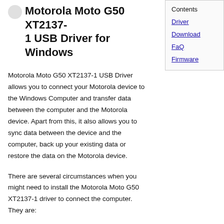Motorola Moto G50 XT2137-1 USB Driver for Windows
Motorola Moto G50 XT2137-1 USB Driver allows you to connect your Motorola device to the Windows Computer and transfer data between the computer and the Motorola device. Apart from this, it also allows you to sync data between the device and the computer, back up your existing data or restore the data on the Motorola device.
There are several circumstances when you might need to install the Motorola Moto G50 XT2137-1 driver to connect the computer. They are:
Contents
Driver
Download
FaQ
Firmware